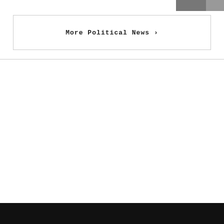[Figure (photo): Small thumbnail photo in the top-right corner, partially visible]
More Political News ›